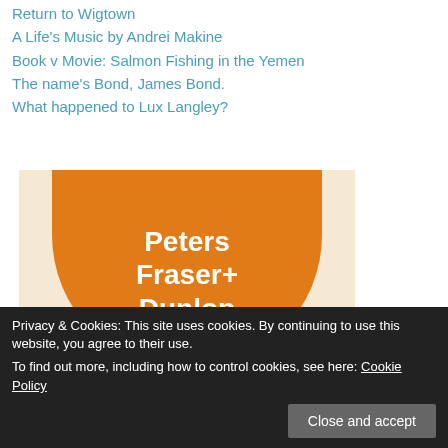Return to Wigtown
A Life's Music by Andrei Makine
Book v Movie: Salmon Fishing in the Yemen
The name's Bond, James Bond.
What happened to Lux Langley?
[Figure (logo): Peters Fraser+ Dunlop logo with orange semicircle on cream background, with THE SUNDAY TIMES YOUNG WRITER OF THE YEAR banner below and SHADOW JUDGE 2017 at bottom]
Privacy & Cookies: This site uses cookies. By continuing to use this website, you agree to their use.
To find out more, including how to control cookies, see here: Cookie Policy